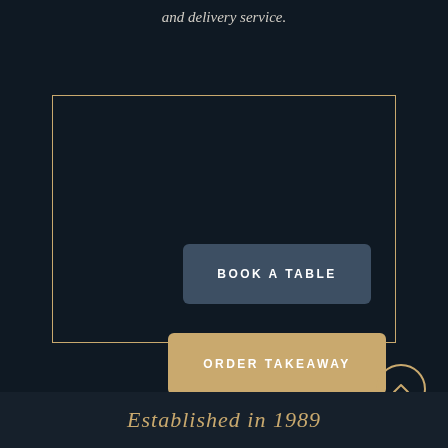and delivery service.
[Figure (infographic): A dark navy bordered rectangle containing two call-to-action buttons: 'BOOK A TABLE' (slate blue) and 'ORDER TAKEAWAY' (gold/tan)]
[Figure (other): A circular gold-outlined button with an upward chevron arrow icon]
Established in 1989